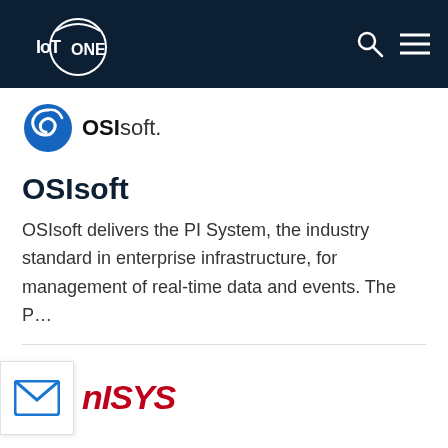IoT ONE
[Figure (logo): OSIsoft logo with blue swirl graphic and bold OSIsoft. text]
OSIsoft
OSIsoft delivers the PI System, the industry standard in enterprise infrastructure, for management of real-time data and events. The P…
[Figure (logo): Unisys logo in red italic bold font, with email envelope icon to the left]
Unisys